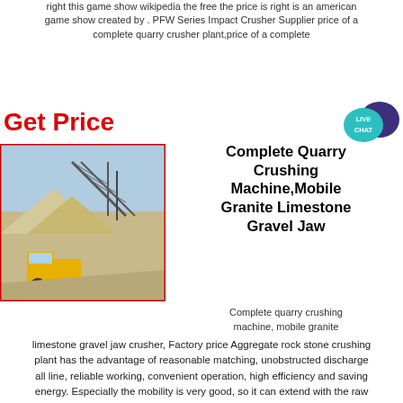right this game show wikipedia the free the price is right is an american game show created by . PFW Series Impact Crusher Supplier price of a complete quarry crusher plant,price of a complete
Get Price
[Figure (photo): A quarry site with a large conveyor belt structure, piles of crushed rock/sand, and a yellow dump truck on a dirt road.]
[Figure (other): Live Chat speech bubble icon in teal and dark purple]
Complete Quarry Crushing Machine,Mobile Granite Limestone Gravel Jaw
Complete quarry crushing machine, mobile granite limestone gravel jaw crusher, Factory price Aggregate rock stone crushing plant has the advantage of reasonable matching, unobstructed discharge all line, reliable working, convenient operation, high efficiency and saving energy. Especially the mobility is very good, so it can extend with the raw material places or the construction place, and it